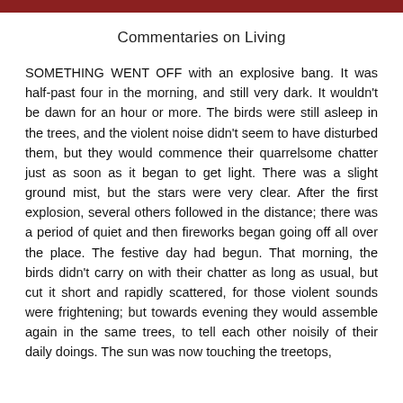Commentaries on Living
SOMETHING WENT OFF with an explosive bang. It was half-past four in the morning, and still very dark. It wouldn't be dawn for an hour or more. The birds were still asleep in the trees, and the violent noise didn't seem to have disturbed them, but they would commence their quarrelsome chatter just as soon as it began to get light. There was a slight ground mist, but the stars were very clear. After the first explosion, several others followed in the distance; there was a period of quiet and then fireworks began going off all over the place. The festive day had begun. That morning, the birds didn't carry on with their chatter as long as usual, but cut it short and rapidly scattered, for those violent sounds were frightening; but towards evening they would assemble again in the same trees, to tell each other noisily of their daily doings. The sun was now touching the treetops,